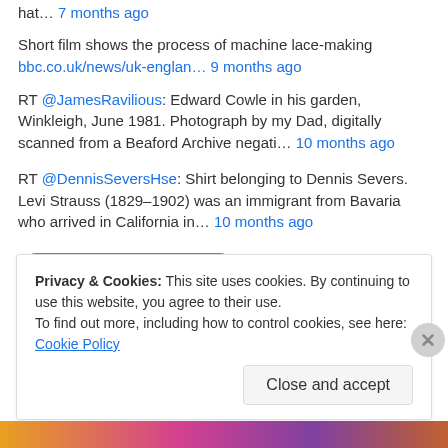hat… 7 months ago
Short film shows the process of machine lace-making
bbc.co.uk/news/uk-englan… 9 months ago
RT @JamesRavilious: Edward Cowle in his garden, Winkleigh, June 1981. Photograph by my Dad, digitally scanned from a Beaford Archive negati… 10 months ago
RT @DennisSeversHse: Shirt belonging to Dennis Severs. Levi Strauss (1829–1902) was an immigrant from Bavaria who arrived in California in… 10 months ago
Follow @orchella49
Privacy & Cookies: This site uses cookies. By continuing to use this website, you agree to their use. To find out more, including how to control cookies, see here: Cookie Policy
Close and accept